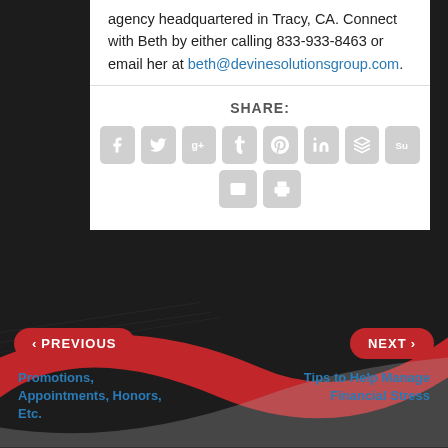agency headquartered in Tracy, CA. Connect with Beth by either calling 833-933-8463 or email her at beth@devinesolutionsgroup.com.
[Figure (infographic): Social media share buttons: Facebook, Twitter, Google+, Tumblr, Pinterest, LinkedIn, Buffer, StumbleUpon, Email, Print]
SHARE:
[Figure (infographic): Navigation section with dark and red swoosh background, PREVIOUS and NEXT buttons]
< PREVIOUS
NEXT >
Promotions, Appointments, Honors, Etc.
Tips to Help Manage Financial Stress